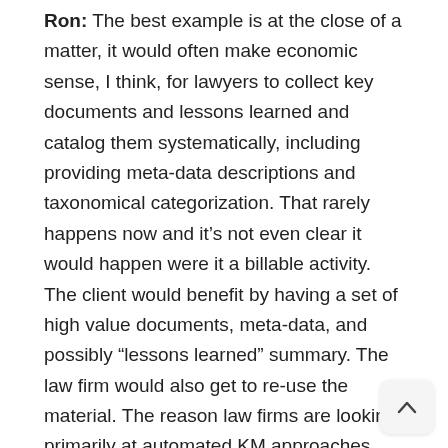Ron: The best example is at the close of a matter, it would often make economic sense, I think, for lawyers to collect key documents and lessons learned and catalog them systematically, including providing meta-data descriptions and taxonomical categorization. That rarely happens now and it's not even clear it would happen were it a billable activity. The client would benefit by having a set of high value documents, meta-data, and possibly “lessons learned” summary. The law firm would also get to re-use the material. The reason law firms are looking primarily at automated KM approaches (e.g., Recommind) is that there is no motivation to identify documents for re-